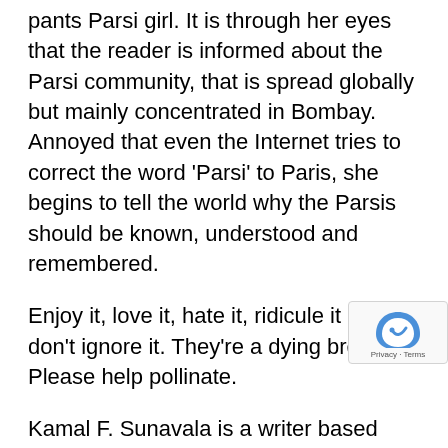pants Parsi girl. It is through her eyes that the reader is informed about the Parsi community, that is spread globally but mainly concentrated in Bombay. Annoyed that even the Internet tries to correct the word 'Parsi' to Paris, she begins to tell the world why the Parsis should be known, understood and remembered.
Enjoy it, love it, hate it, ridicule it but don't ignore it. They're a dying breed. Please help pollinate.
Kamal F. Sunavala is a writer based physically in Singapore and Dubai but mentally in Prague, Bombay, London or any aesthetic book cafe with good coffee. She lives with her partner (business and personal; isn't th convenient), his perfume collection and he book collection.